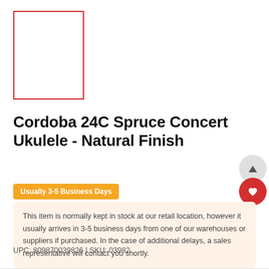[Figure (other): Product image placeholder — white rectangle with red border]
Cordoba 24C Spruce Concert Ukulele - Natural Finish
Usually 3-5 Business Days
This item is normally kept in stock at our retail location, however it usually arrives in 3-5 business days from one of our warehouses or suppliers if purchased. In the case of additional delays, a sales representative will contact you shortly.
UPC: 809870039826 | SKU: 03982